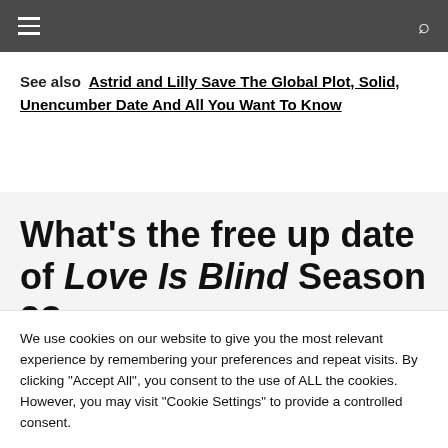Navigation bar with hamburger menu and search icon
See also  Astrid and Lilly Save The Global Plot, Solid, Unencumber Date And All You Want To Know
What's the free up date of Love Is Blind Season 2?
We use cookies on our website to give you the most relevant experience by remembering your preferences and repeat visits. By clicking "Accept All", you consent to the use of ALL the cookies. However, you may visit "Cookie Settings" to provide a controlled consent.